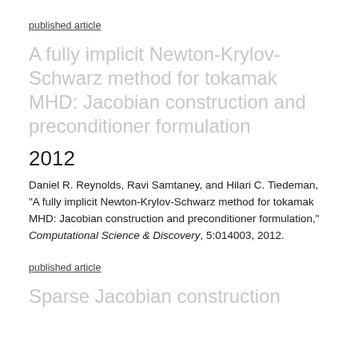published article
A fully implicit Newton-Krylov-Schwarz method for tokamak MHD: Jacobian construction and preconditioner formulation
2012
Daniel R. Reynolds, Ravi Samtaney, and Hilari C. Tiedeman, "A fully implicit Newton-Krylov-Schwarz method for tokamak MHD: Jacobian construction and preconditioner formulation," Computational Science & Discovery, 5:014003, 2012.
published article
Sparse Jacobian construction